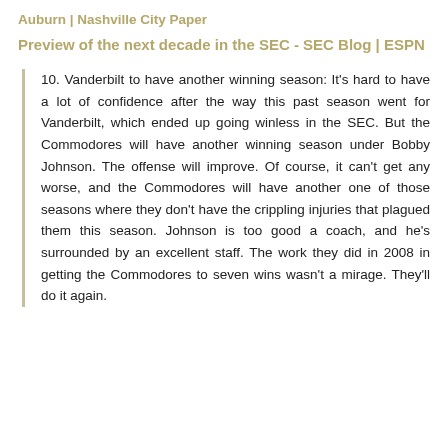Auburn | Nashville City Paper
Preview of the next decade in the SEC - SEC Blog | ESPN
10. Vanderbilt to have another winning season: It's hard to have a lot of confidence after the way this past season went for Vanderbilt, which ended up going winless in the SEC. But the Commodores will have another winning season under Bobby Johnson. The offense will improve. Of course, it can't get any worse, and the Commodores will have another one of those seasons where they don't have the crippling injuries that plagued them this season. Johnson is too good a coach, and he's surrounded by an excellent staff. The work they did in 2008 in getting the Commodores to seven wins wasn't a mirage. They'll do it again.